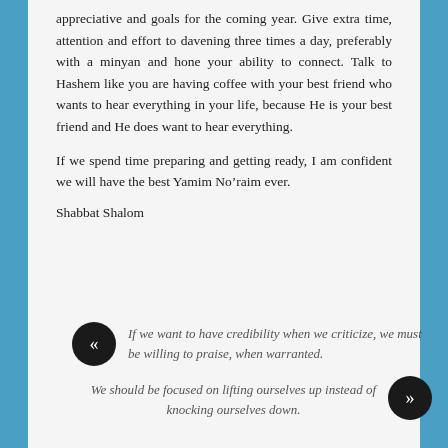appreciative and goals for the coming year. Give extra time, attention and effort to davening three times a day, preferably with a minyan and hone your ability to connect. Talk to Hashem like you are having coffee with your best friend who wants to hear everything in your life, because He is your best friend and He does want to hear everything.
If we spend time preparing and getting ready, I am confident we will have the best Yamim No’raim ever.
Shabbat Shalom
If we want to have credibility when we criticize, we must be willing to praise, when warranted.
We should be focused on lifting ourselves up instead of knocking ourselves down.